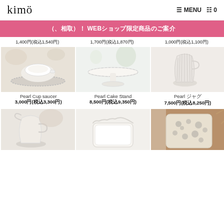kimö  ≡ MENU  🛒 0
！WEB限定！ WEBショップ限定商品のご案内
1,400円(税込1,540円)  1,700円(税込1,870円)  1,000円(税込1,100円)
[Figure (photo): Pearl Cup saucer - white ceramic cup and saucer on lace cloth]
[Figure (photo): Pearl Cake Stand - white ceramic cake stand on table]
[Figure (photo): Pearl ジャグ - white ribbed ceramic pitcher/jug]
Pearl Cup saucer
3,000円(税込3,300円)
Pearl Cake Stand
8,500円(税込9,350円)
Pearl ジャグ
7,500円(税込8,250円)
[Figure (photo): White ceramic pitcher/creamer]
[Figure (photo): White ceramic square bowl with scalloped edge]
[Figure (photo): Gray leopard print ceramic plate on wooden board]